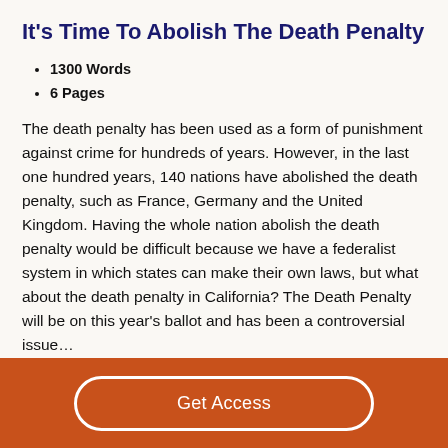It's Time To Abolish The Death Penalty
1300 Words
6 Pages
The death penalty has been used as a form of punishment against crime for hundreds of years. However, in the last one hundred years, 140 nations have abolished the death penalty, such as France, Germany and the United Kingdom. Having the whole nation abolish the death penalty would be difficult because we have a federalist system in which states can make their own laws, but what about the death penalty in California? The Death Penalty will be on this year's ballot and has been a controversial issue…
Get Access